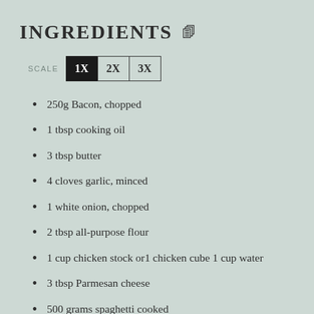INGREDIENTS
250g Bacon, chopped
1 tbsp cooking oil
3 tbsp butter
4 cloves garlic, minced
1 white onion, chopped
2 tbsp all-purpose flour
1 cup chicken stock or1 chicken cube 1 cup water
3 tbsp Parmesan cheese
500 grams spaghetti cooked